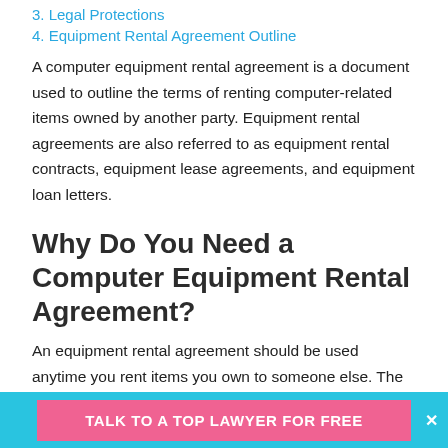3. Legal Protections
4. Equipment Rental Agreement Outline
A computer equipment rental agreement is a document used to outline the terms of renting computer-related items owned by another party. Equipment rental agreements are also referred to as equipment rental contracts, equipment lease agreements, and equipment loan letters.
Why Do You Need a Computer Equipment Rental Agreement?
An equipment rental agreement should be used anytime you rent items you own to someone else. The agreement helps preserve the value of your equipment
TALK TO A TOP LAWYER FOR FREE